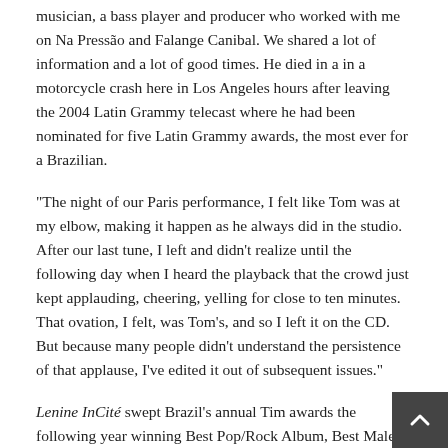musician, a bass player and producer who worked with me on Na Pressão and Falange Canibal. We shared a lot of information and a lot of good times. He died in a in a motorcycle crash here in Los Angeles hours after leaving the 2004 Latin Grammy telecast where he had been nominated for five Latin Grammy awards, the most ever for a Brazilian.
“The night of our Paris performance, I felt like Tom was at my elbow, making it happen as he always did in the studio. After our last tune, I left and didn’t realize until the following day when I heard the playback that the crowd just kept applauding, cheering, yelling for close to ten minutes. That ovation, I felt, was Tom’s, and so I left it on the CD. But because many people didn’t understand the persistence of that applause, I’ve edited it out of subsequent issues.”
Lenine InCité swept Brazil’s annual Tim awards the following year winning Best Pop/Rock Album, Best Male Vocalist in both the judges’ and the fans’ polls, and Best Song for “Todas Elas Juntas Num Só Ser,” a cinematic narrative characteristic of Lenine’s work, whose lyrics cite numerous songs that declare love for the women, or muses, that inspired them and in which Lenine professes his love for Anna, his wife of 25